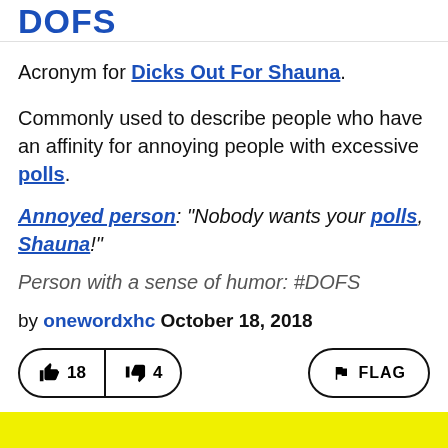DOFS
Acronym for Dicks Out For Shauna.
Commonly used to describe people who have an affinity for annoying people with excessive polls.
Annoyed person: “Nobody wants your polls, Shauna!”
Person with a sense of humor: #DOFS
by onewordxhc October 18, 2018
👍 18  👎 4  FLAG